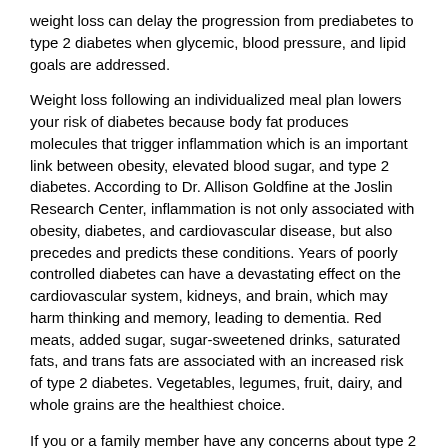weight loss can delay the progression from prediabetes to type 2 diabetes when glycemic, blood pressure, and lipid goals are addressed.
Weight loss following an individualized meal plan lowers your risk of diabetes because body fat produces molecules that trigger inflammation which is an important link between obesity, elevated blood sugar, and type 2 diabetes. According to Dr. Allison Goldfine at the Joslin Research Center, inflammation is not only associated with obesity, diabetes, and cardiovascular disease, but also precedes and predicts these conditions. Years of poorly controlled diabetes can have a devastating effect on the cardiovascular system, kidneys, and brain, which may harm thinking and memory, leading to dementia. Red meats, added sugar, sugar-sweetened drinks, saturated fats, and trans fats are associated with an increased risk of type 2 diabetes. Vegetables, legumes, fruit, dairy, and whole grains are the healthiest choice.
If you or a family member have any concerns about type 2 diabetes, schedule an appointment with Lynne Williams, Registered Dietitian and Certified Diabetes Educator, for an individualized consultation or attend a free 20/20 LifeStyles introductory seminar. Visit 2020lifestyles.com or call 877.559.2020 to register.